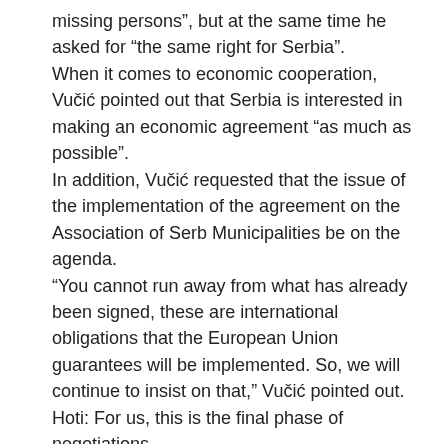missing persons", but at the same time he asked for "the same right for Serbia".
When it comes to economic cooperation, Vučić pointed out that Serbia is interested in making an economic agreement "as much as possible".
In addition, Vučić requested that the issue of the implementation of the agreement on the Association of Serb Municipalities be on the agenda.
"You cannot run away from what has already been signed, these are international obligations that the European Union guarantees will be implemented. So, we will continue to insist on that," Vučić pointed out.
Hoti: For us, this is the final phase of negotiations
The Prime Minister of Kosovo, Avdullah Hoti, pointed out that the dialogue process continued yesterday after 20 months, and that mutual recognition and normalization of relations between the two countries are the basic principles and the ultimate goal of this process.
"With the support of friends, we will achieve our goal